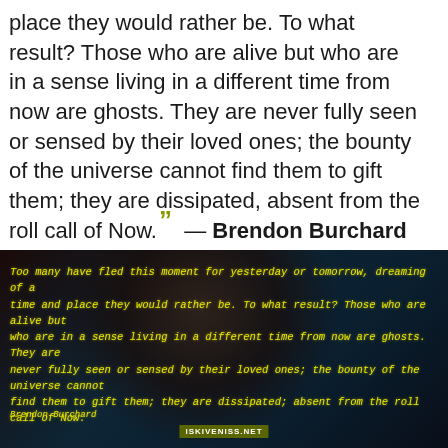place they would rather be. To what result? Those who are alive but who are in a sense living in a different time from now are ghosts. They are never fully seen or sensed by their loved ones; the bounty of the universe cannot find them to gift them; they are dissipated, absent from the roll call of Now. ” — Brendon Burchard
[Figure (photo): Dark-toned photo of a woman smiling, overlaid with yellow italic script text repeating the Brendon Burchard quote, with a watermark at the bottom.]